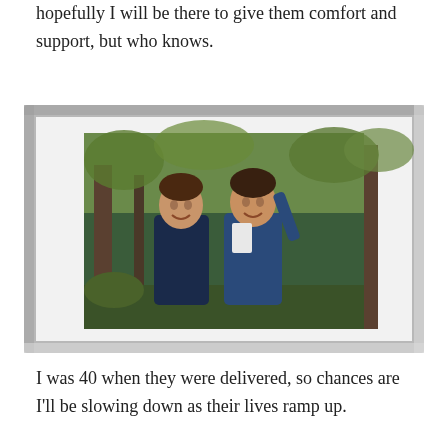hopefully I will be there to give them comfort and support, but who knows.
[Figure (photo): A framed photograph showing two young girls smiling and hugging outdoors, with trees in the background. The photo is in a white mat frame.]
I was 40 when they were delivered, so chances are I'll be slowing down as their lives ramp up.